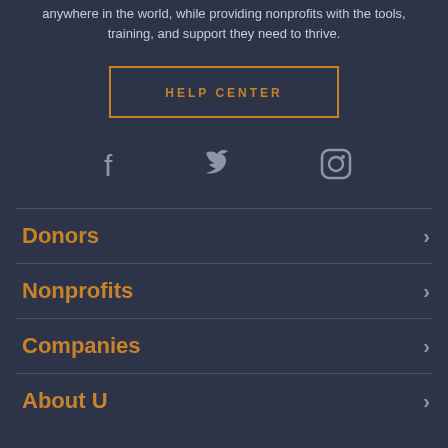anywhere in the world, while providing nonprofits with the tools, training, and support they need to thrive.
[Figure (other): HELP CENTER button with orange border]
[Figure (other): Social media icons: Facebook, Twitter, Instagram]
Donors
Nonprofits
Companies
About U...